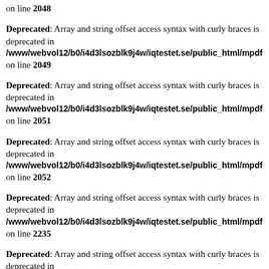on line 2048
Deprecated: Array and string offset access syntax with curly braces is deprecated in /www/webvol12/b0/i4d3lsozblk9j4w/iqtestet.se/public_html/mpdf on line 2049
Deprecated: Array and string offset access syntax with curly braces is deprecated in /www/webvol12/b0/i4d3lsozblk9j4w/iqtestet.se/public_html/mpdf on line 2051
Deprecated: Array and string offset access syntax with curly braces is deprecated in /www/webvol12/b0/i4d3lsozblk9j4w/iqtestet.se/public_html/mpdf on line 2052
Deprecated: Array and string offset access syntax with curly braces is deprecated in /www/webvol12/b0/i4d3lsozblk9j4w/iqtestet.se/public_html/mpdf on line 2235
Deprecated: Array and string offset access syntax with curly braces is deprecated in /www/webvol12/b0/i4d3lsozblk9j4w/iqtestet.se/public_html/mpdf on line 2236